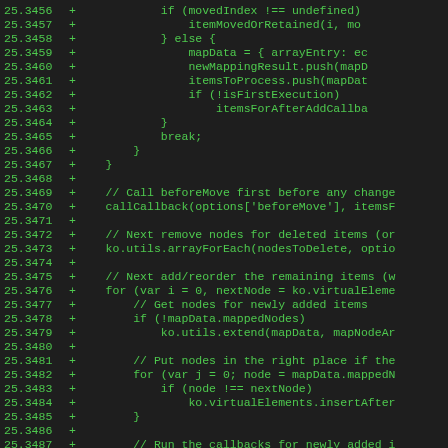[Figure (screenshot): Code diff view showing JavaScript code lines 25.3456 through 25.3487, all marked with '+' (additions), displayed with green monospace text on dark background. The code appears to be part of a Knockout.js utility function handling array mapping, node insertion, and callbacks.]